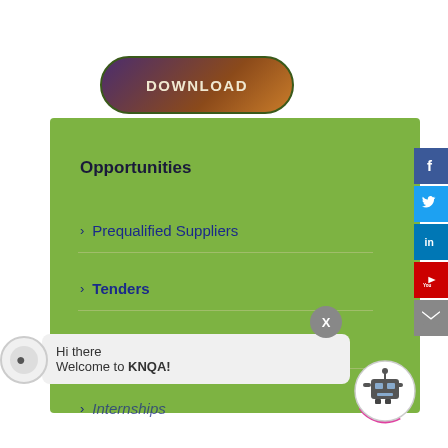[Figure (other): Download button with dark purple-to-orange gradient and rounded rectangle shape]
Opportunities
Prequalified Suppliers
Tenders
Vacancies
Internships
[Figure (other): Social media sidebar with Facebook, Twitter, LinkedIn, YouTube, and Email icons]
Hi there
Welcome to KNQA!
[Figure (other): Chatbot avatar icon with circular arc in magenta/pink]